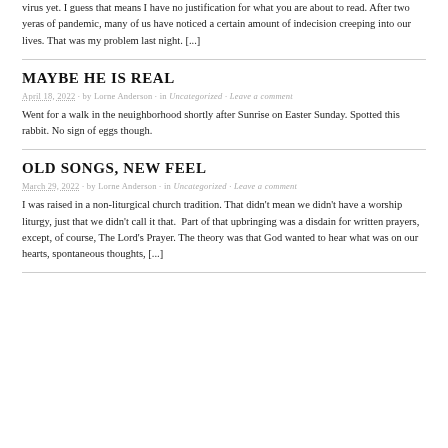virus yet. I guess that means I have no justification for what you are about to read. After two yeras of pandemic, many of us have noticed a certain amount of indecision creeping into our lives. That was my problem last night. [...]
MAYBE HE IS REAL
April 18, 2022 · by Lorne Anderson · in Uncategorized · Leave a comment
Went for a walk in the neuighborhood shortly after Sunrise on Easter Sunday. Spotted this rabbit. No sign of eggs though.
OLD SONGS, NEW FEEL
March 29, 2022 · by Lorne Anderson · in Uncategorized · Leave a comment
I was raised in a non-liturgical church tradition. That didn't mean we didn't have a worship liturgy, just that we didn't call it that.  Part of that upbringing was a disdain for written prayers, except, of course, The Lord's Prayer. The theory was that God wanted to hear what was on our hearts, spontaneous thoughts, [...]